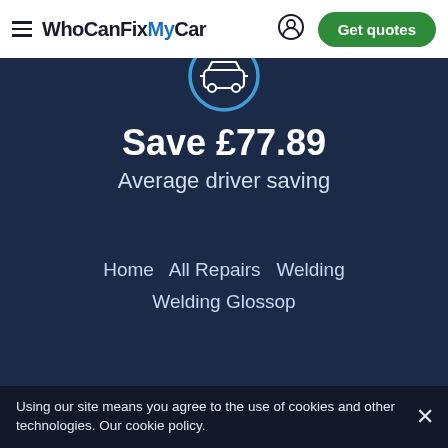WhoCanFixMyCar  Get quotes
[Figure (illustration): Car icon in a blue circle outline]
Save £77.89
Average driver saving
Home   All Repairs   Welding   Welding Glossop
Using our site means you agree to the use of cookies and other technologies. Our cookie policy.